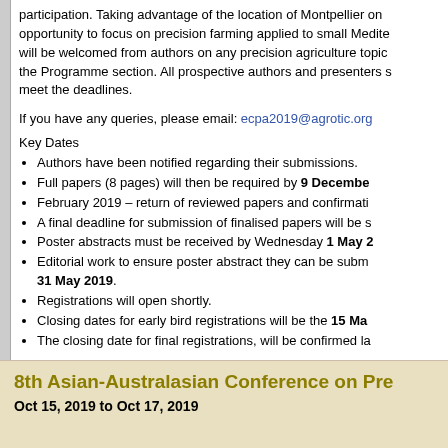participation. Taking advantage of the location of Montpellier on opportunity to focus on precision farming applied to small Medite will be welcomed from authors on any precision agriculture topic the Programme section. All prospective authors and presenters s meet the deadlines.
If you have any queries, please email: ecpa2019@agrotic.org
Key Dates
Authors have been notified regarding their submissions.
Full papers (8 pages) will then be required by 9 December
February 2019 – return of reviewed papers and confirmati
A final deadline for submission of finalised papers will be s
Poster abstracts must be received by Wednesday 1 May 2
Editorial work to ensure poster abstract they can be subm 31 May 2019.
Registrations will open shortly.
Closing dates for early bird registrations will be the 15 Ma
The closing date for final registrations, will be confirmed la
8th Asian-Australasian Conference on Pre
Oct 15, 2019 to Oct 17, 2019